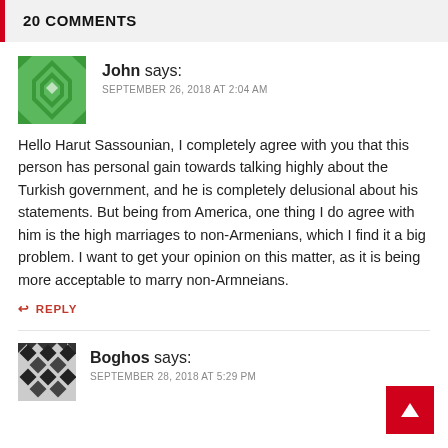20 COMMENTS
[Figure (illustration): Green geometric/diamond pattern avatar for user John]
John says:
SEPTEMBER 26, 2018 AT 2:04 AM
Hello Harut Sassounian, I completely agree with you that this person has personal gain towards talking highly about the Turkish government, and he is completely delusional about his statements. But being from America, one thing I do agree with him is the high marriages to non-Armenians, which I find it a big problem. I want to get your opinion on this matter, as it is being more acceptable to marry non-Armneians.
↩ REPLY
[Figure (illustration): Black and white diamond/checker pattern avatar for user Boghos]
Boghos says:
SEPTEMBER 28, 2018 AT 5:29 PM